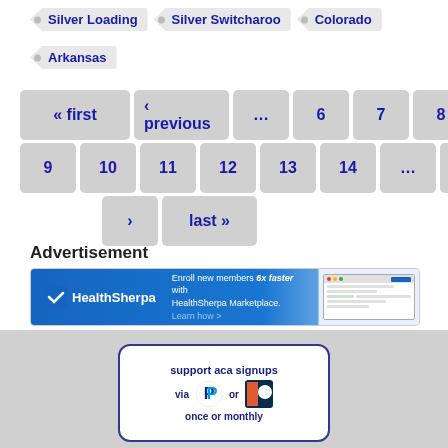Silver Loading
Silver Switcharoo
Colorado
Arkansas
[Figure (screenshot): Pagination controls showing: first, previous, ..., 6, 7, 8, 9, 10, 11, 12, 13, 14, ..., next, >, last]
Advertisement
[Figure (screenshot): HealthSherpa advertisement banner: Enroll new members 6x faster with HealthSherpa Marketplace. Learn how > with screenshot of app on right side.]
[Figure (infographic): Support ACA signups via PayPal or Patreon, once or monthly]